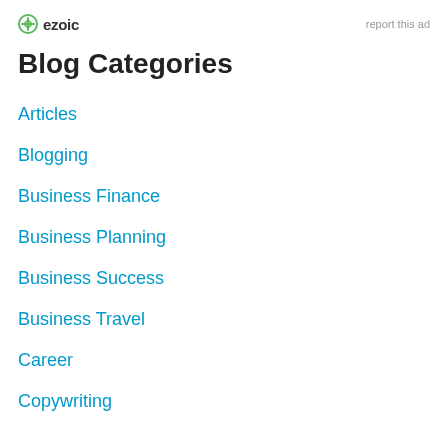ezoic   report this ad
Blog Categories
Articles
Blogging
Business Finance
Business Planning
Business Success
Business Travel
Career
Copywriting